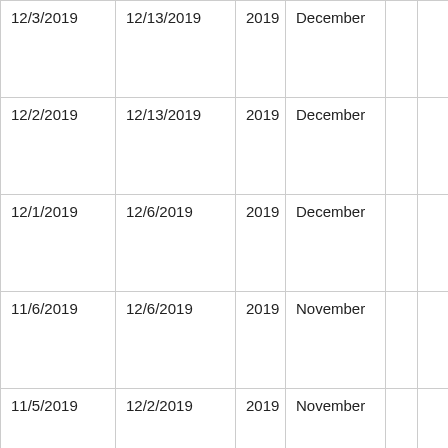| 12/3/2019 | 12/13/2019 | 2019 | December |  |  |
| 12/2/2019 | 12/13/2019 | 2019 | December |  |  |
| 12/1/2019 | 12/6/2019 | 2019 | December |  |  |
| 11/6/2019 | 12/6/2019 | 2019 | November |  |  |
| 11/5/2019 | 12/2/2019 | 2019 | November |  |  |